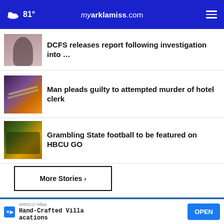81° myarklamiss.com
DCFS releases report following investigation into …
Man pleads guilty to attempted murder of hotel clerk
Grambling State football to be featured on HBCU GO
More Stories ›
[Figure (screenshot): Advertisement banner showing 'Thousands of teens' and 'to share their firsts with you.' text over blue background]
WIMCO Villas
Hand-Crafted Villa Vacations
OPEN